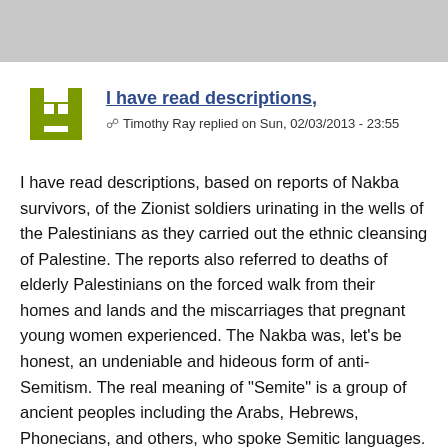I have read descriptions,
Timothy Ray replied on Sun, 02/03/2013 - 23:55
I have read descriptions, based on reports of Nakba survivors, of the Zionist soldiers urinating in the wells of the Palestinians as they carried out the ethnic cleansing of Palestine. The reports also referred to deaths of elderly Palestinians on the forced walk from their homes and lands and the miscarriages that pregnant young women experienced. The Nakba was, let's be honest, an undeniable and hideous form of anti-Semitism. The real meaning of "Semite" is a group of ancient peoples including the Arabs, Hebrews, Phonecians, and others, who spoke Semitic languages. The German, Russian, and Polish surnames of so many Israelis cannot be found in in the Bible. This leads to the conclusion that the European Zionists were half breeds - only partially Semitic. How can modern humans continue to use such